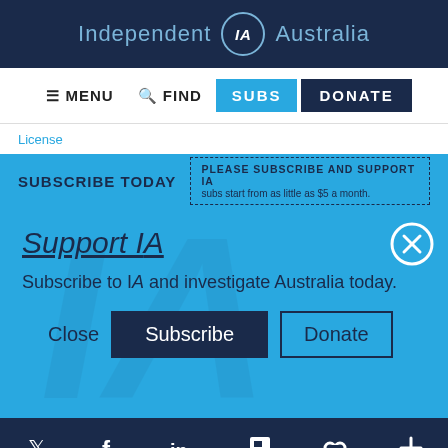[Figure (logo): Independent IA Australia logo with circular IA emblem on dark navy background]
≡ MENU  🔍 FIND  SUBS  DONATE
License
SUBSCRIBE TODAY  PLEASE SUBSCRIBE AND SUPPORT IA  subs start from as little as $5 a month.
Support IA
Subscribe to IA and investigate Australia today.
Close  Subscribe  Donate
Twitter  Facebook  LinkedIn  Flipboard  Link  More